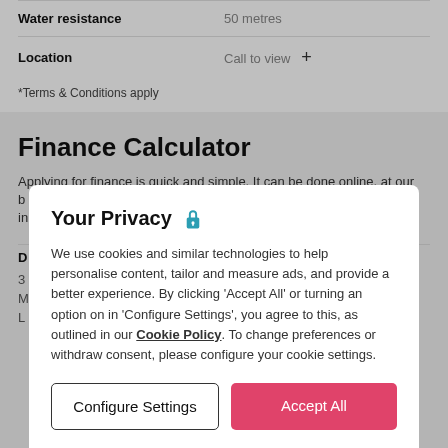| Attribute | Value |
| --- | --- |
| Water resistance | 50 metres |
| Location | Call to view |
*Terms & Conditions apply
Finance Calculator
Applying for finance is quick and simple. It can be done online, at our b... in...
Your Privacy
We use cookies and similar technologies to help personalise content, tailor and measure ads, and provide a better experience. By clicking 'Accept All' or turning an option on in 'Configure Settings', you agree to this, as outlined in our Cookie Policy. To change preferences or withdraw consent, please configure your cookie settings.
Configure Settings | Accept All